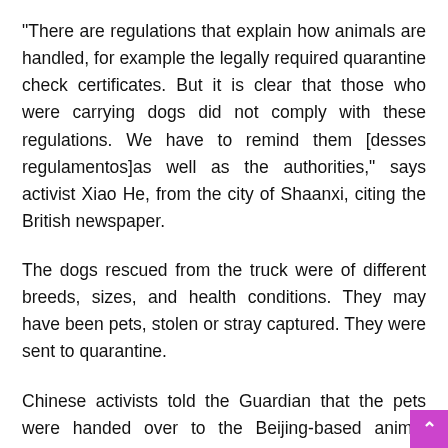“There are regulations that explain how animals are handled, for example the legally required quarantine check certificates. But it is clear that those who were carrying dogs did not comply with these regulations. We have to remind them [desses regulamentos]as well as the authorities,” says activist Xiao He, from the city of Shaanxi, citing the British newspaper.
The dogs rescued from the truck were of different breeds, sizes, and health conditions. They may have been pets, stolen or stray captured. They were sent to quarantine.
Chinese activists told the Guardian that the pets were handed over to the Beijing-based animal welfare NGO, after the dealers signed an agreement to give up ownership of the dogs.